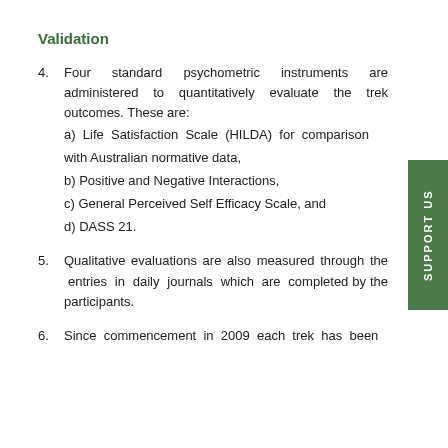Validation
4. Four standard psychometric instruments are administered to quantitatively evaluate the trek outcomes. These are:
a) Life Satisfaction Scale (HILDA) for comparison with Australian normative data,
b) Positive and Negative Interactions,
c) General Perceived Self Efficacy Scale, and
d) DASS 21.
5. Qualitative evaluations are also measured through the entries in daily journals which are completed by the participants.
6. Since commencement in 2009 each trek has been